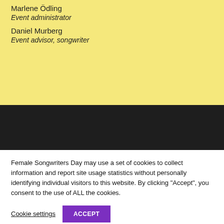Marlene Ödling
Event administrator
Daniel Murberg
Event advisor, songwriter
Female Songwriters Day may use a set of cookies to collect information and report site usage statistics without personally identifying individual visitors to this website. By clicking "Accept", you consent to the use of ALL the cookies.
Cookie settings
ACCEPT